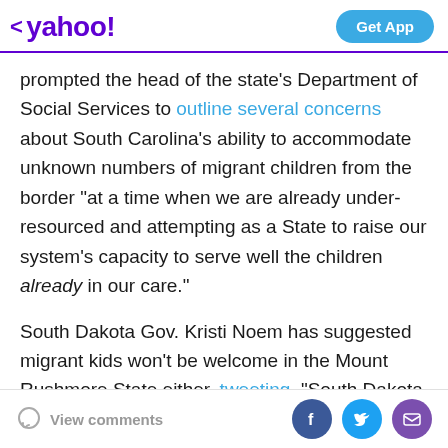yahoo! Get App
prompted the head of the state's Department of Social Services to outline several concerns about South Carolina's ability to accommodate unknown numbers of migrant children from the border “at a time when we are already under-resourced and attempting as a State to raise our system’s capacity to serve well the children already in our care.”
South Dakota Gov. Kristi Noem has suggested migrant kids won’t be welcome in the Mount Rushmore State either, tweeting, “South Dakota won’t be taking any illegal immigrants that the Biden Administration wants to relocate. My message to illegal immigrants… call me
View comments